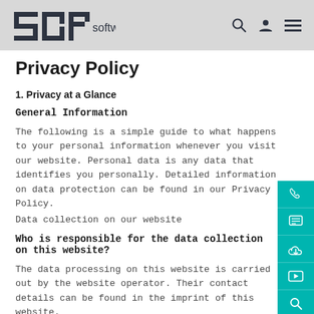2dr software [navigation icons: search, user, menu]
Privacy Policy
1. Privacy at a Glance
General Information
The following is a simple guide to what happens to your personal information whenever you visit our website. Personal data is any data that identifies you personally. Detailed information on data protection can be found in our Privacy Policy.
Data collection on our website
Who is responsible for the data collection on this website?
The data processing on this website is carried out by the website operator. Their contact details can be found in the imprint of this website.